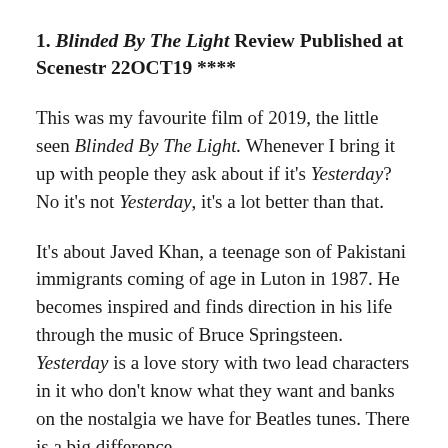1. Blinded By The Light Review Published at Scenestr 22OCT19 ****
This was my favourite film of 2019, the little seen Blinded By The Light. Whenever I bring it up with people they ask about if it's Yesterday? No it's not Yesterday, it's a lot better than that.
It's about Javed Khan, a teenage son of Pakistani immigrants coming of age in Luton in 1987. He becomes inspired and finds direction in his life through the music of Bruce Springsteen. Yesterday is a love story with two lead characters in it who don't know what they want and banks on the nostalgia we have for Beatles tunes. There is a big difference.
The film does delve into racism and economic downturns and leaves us with the ripple effect of...